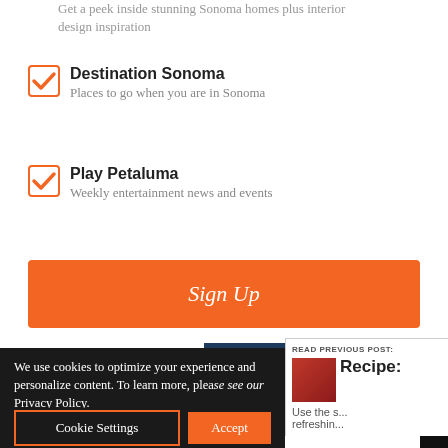Get a peek inside stunning Sonoma homes plus interior design inspiration
Destination Sonoma — Places to go when you are in Sonoma
Play Petaluma — Weekly entertainment news and events
Sign Up
[Figure (logo): Exchange Bank logo with 'Community Strong.' text on dark blue background, Member FDIC, NMLS ID 643948]
We use cookies to optimize your experience and personalize content. To learn more, please see our Privacy Policy.
Cookie Settings
Accept
READ PREVIOUS POST:
Recipe:
Use the s... refreshin...